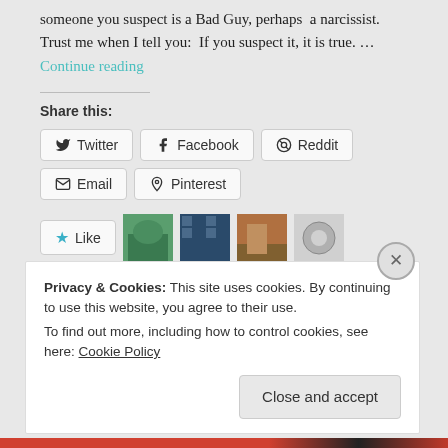someone you suspect is a Bad Guy, perhaps a narcissist.  Trust me when I tell you:  If you suspect it, it is true. … Continue reading
Share this:
Twitter  Facebook  Reddit  Email  Pinterest
[Figure (other): Like button with star icon and 4 blogger avatar thumbnails]
4 bloggers like this.
Privacy & Cookies: This site uses cookies. By continuing to use this website, you agree to their use.
To find out more, including how to control cookies, see here: Cookie Policy
Close and accept